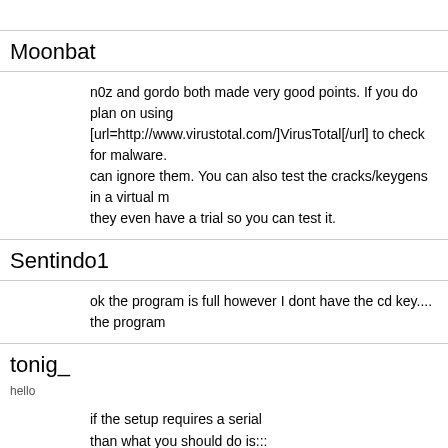Moonbat
n0z and gordo both made very good points. If you do plan on using [url=http://www.virustotal.com/]VirusTotal[/url] to check for malware. can ignore them. You can also test the cracks/keygens in a virtual m they even have a trial so you can test it.
Sentindo1
ok the program is full however I dont have the cd key.... the program
tonig_
hello
if the setup requires a serial
than what you should do is:::
if the Next button is inactive you should see if it gets active when yo any number or word than you can try using UniExtract which is freev is used to extract files from Setups